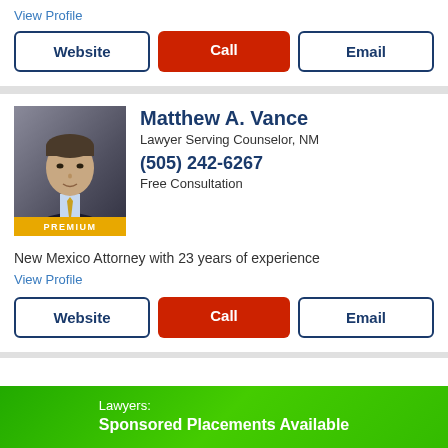View Profile
Website | Call | Email
Matthew A. Vance
Lawyer Serving Counselor, NM
(505) 242-6267
Free Consultation
[Figure (photo): Headshot of Matthew A. Vance, a lawyer, wearing a suit with a yellow PREMIUM badge at the bottom of the photo]
New Mexico Attorney with 23 years of experience
View Profile
Website | Call | Email
Lawyers: Sponsored Placements Available